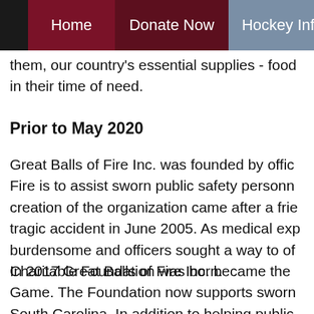Home | Donate Now | Hockey Info | Bas
them, our country's essential supplies - food in their time of need.
Prior to May 2020
Great Balls of Fire Inc. was founded by offic... Fire is to assist sworn public safety personn... creation of the organization came after a frie... tragic accident in June 2005. As medical exp... burdensome and officers sought a way to of... Charitable Foundation was born.
In 2017 Great Balls of Fire Inc. became the... Game. The Foundation now supports sworn... South Carolina. In addition to helping public...